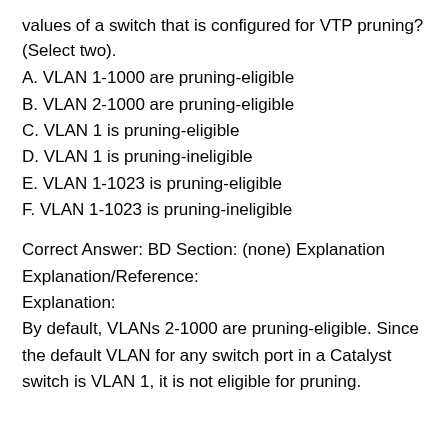values of a switch that is configured for VTP pruning? (Select two).
A. VLAN 1-1000 are pruning-eligible
B. VLAN 2-1000 are pruning-eligible
C. VLAN 1 is pruning-eligible
D. VLAN 1 is pruning-ineligible
E. VLAN 1-1023 is pruning-eligible
F. VLAN 1-1023 is pruning-ineligible
Correct Answer: BD Section: (none) Explanation Explanation/Reference: Explanation: By default, VLANs 2-1000 are pruning-eligible. Since the default VLAN for any switch port in a Catalyst switch is VLAN 1, it is not eligible for pruning.